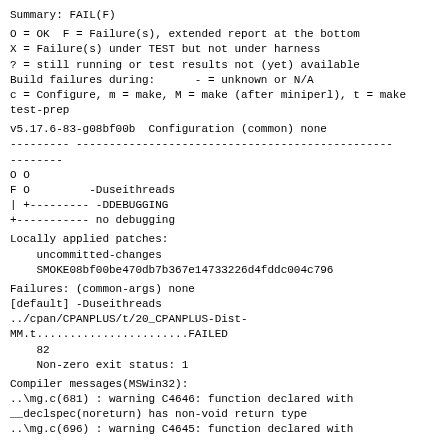Summary: FAIL(F)
O = OK  F = Failure(s), extended report at the bottom
X = Failure(s) under TEST but not under harness
? = still running or test results not (yet) available
Build failures during:      - = unknown or N/A
c = Configure, m = make, M = make (after miniperl), t = make
test-prep
v5.17.6-83-g08bf00b  Configuration (common) none
--------- ------------------------------------------------
--------
O O
F O         -Duseithreads
| +--------- -DDEBUGGING
+----------- no debugging
Locally applied patches:
    uncommitted-changes
    SMOKE08bf00be470db7b367e14733226d4fddc004c796
Failures: (common-args) none
[default] -Duseithreads
../cpan/CPANPLUS/t/20_CPANPLUS-Dist-
MM.t.......................FAILED
    82
    Non-zero exit status: 1
Compiler messages(MSWin32):
..\mg.c(681) : warning C4646: function declared with
__declspec(noreturn) has non-void return type
..\mg.c(696) : warning C4645: function declared with